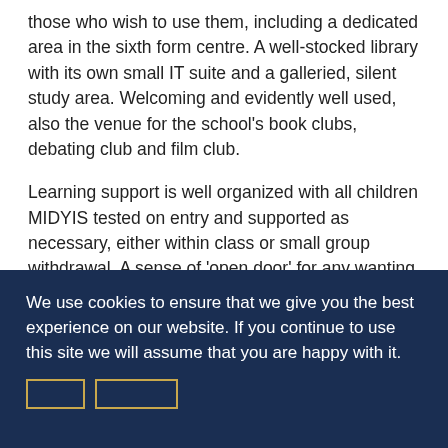those who wish to use them, including a dedicated area in the sixth form centre. A well-stocked library with its own small IT suite and a galleried, silent study area. Welcoming and evidently well used, also the venue for the school's book clubs, debating club and film club.
Learning support is well organized with all children MIDYIS tested on entry and supported as necessary, either within class or small group withdrawal. A sense of 'open door' for any wanting assistance. Pupils say
We use cookies to ensure that we give you the best experience on our website. If you continue to use this site we will assume that you are happy with it.